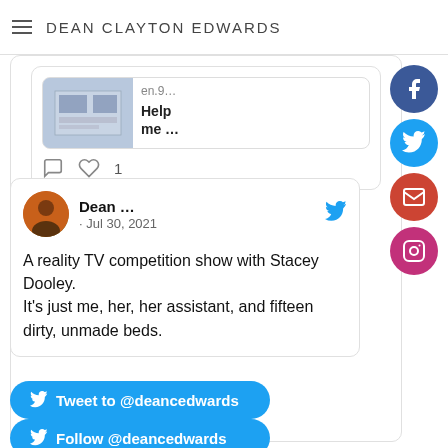DEAN CLAYTON EDWARDS
[Figure (screenshot): Partial tweet card showing a link preview with thumbnail, domain 'en.9...', title 'Help me ...' and tweet action icons (comment, heart with 1 like)]
[Figure (screenshot): Tweet card by Dean ... posted Jul 30, 2021. Text: 'A reality TV competition show with Stacey Dooley. It's just me, her, her assistant, and fifteen dirty, unmade beds.' With Twitter bird icon.]
Tweet to @deancedwards
Follow @deancedwards